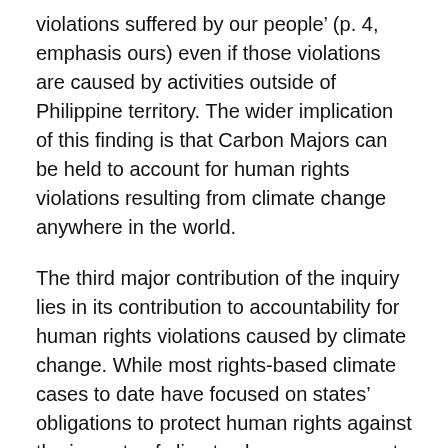violations suffered by our people' (p. 4, emphasis ours) even if those violations are caused by activities outside of Philippine territory. The wider implication of this finding is that Carbon Majors can be held to account for human rights violations resulting from climate change anywhere in the world.
The third major contribution of the inquiry lies in its contribution to accountability for human rights violations caused by climate change. While most rights-based climate cases to date have focused on states' obligations to protect human rights against the impacts of climate change, a nascent body of cases aims to hold corporations to account for their contributions to the climate crisis and associated human rights impacts. The inquiry's focus on 47 of the world's biggest fossil fuel firms highlights the disproportionate contributions of these firms to the climate crisis—and strongly suggests that these